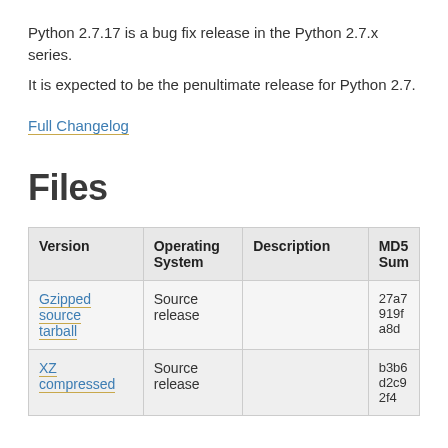Python 2.7.17 is a bug fix release in the Python 2.7.x series.
It is expected to be the penultimate release for Python 2.7.
Full Changelog
Files
| Version | Operating System | Description | MD5 Sum |
| --- | --- | --- | --- |
| Gzipped source tarball | Source release |  | 27a7919fa8d... |
| XZ compressed | Source release |  | b3b6d2c92f4... |